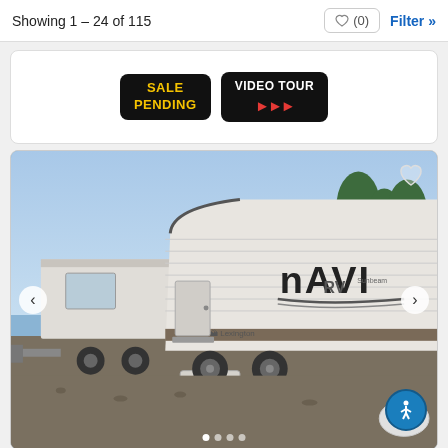Showing 1 – 24 of 115
[Figure (screenshot): Card showing SALE PENDING and VIDEO TOUR badges on a white background]
[Figure (photo): Photo of a Forest River Navi travel trailer RV parked outdoors on gravel, showing the front and side profile. Heart/favorite icon in top right, left/right navigation arrows, carousel dots at bottom, and an accessibility button in the lower right.]